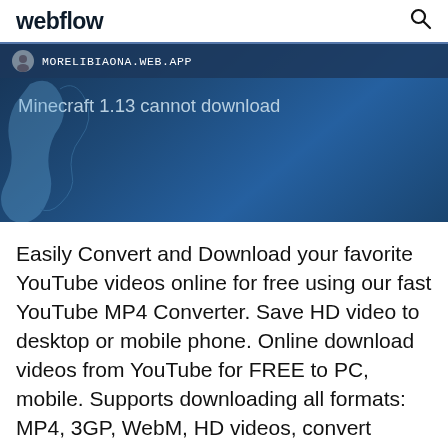webflow
[Figure (screenshot): A screenshot of a web page at MORELIBIAONA.WEB.APP showing a Minecraft 1.13 cannot download page with a blue map background]
Easily Convert and Download your favorite YouTube videos online for free using our fast YouTube MP4 Converter. Save HD video to desktop or mobile phone. Online download videos from YouTube for FREE to PC, mobile. Supports downloading all formats: MP4, 3GP, WebM, HD videos, convert